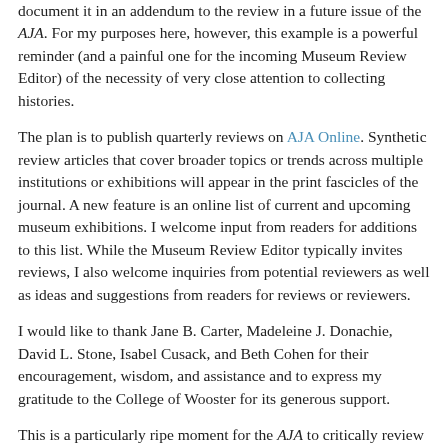document it in an addendum to the review in a future issue of the AJA. For my purposes here, however, this example is a powerful reminder (and a painful one for the incoming Museum Review Editor) of the necessity of very close attention to collecting histories.
The plan is to publish quarterly reviews on AJA Online. Synthetic review articles that cover broader topics or trends across multiple institutions or exhibitions will appear in the print fascicles of the journal. A new feature is an online list of current and upcoming museum exhibitions. I welcome input from readers for additions to this list. While the Museum Review Editor typically invites reviews, I also welcome inquiries from potential reviewers as well as ideas and suggestions from readers for reviews or reviewers.
I would like to thank Jane B. Carter, Madeleine J. Donachie, David L. Stone, Isabel Cusack, and Beth Cohen for their encouragement, wisdom, and assistance and to express my gratitude to the College of Wooster for its generous support.
This is a particularly ripe moment for the AJA to critically review museum exhibitions, and I look forward to the discussions that